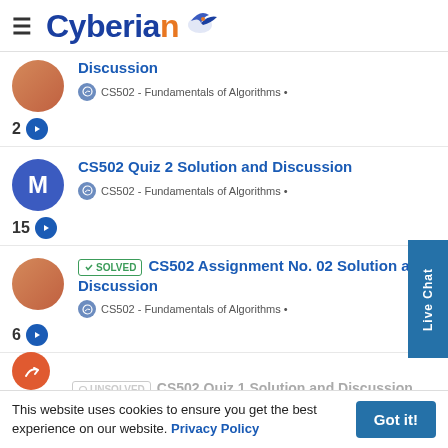Cyberian
Discussion — CS502 - Fundamentals of Algorithms • (2 replies)
CS502 Quiz 2 Solution and Discussion — CS502 - Fundamentals of Algorithms • (15 replies)
SOLVED — CS502 Assignment No. 02 Solution and Discussion — CS502 - Fundamentals of Algorithms • (6 replies)
UNSOLVED — CS502 Quiz 1 Solution and Discussion (partial)
This website uses cookies to ensure you get the best experience on our website. Privacy Policy
Got it!